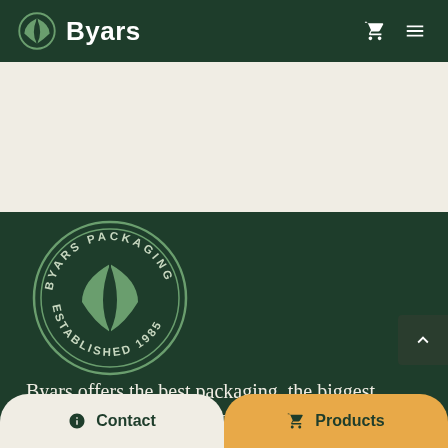[Figure (logo): Byars company logo: green leaf/shield icon and white bold text 'Byars' on dark green header bar, with shopping cart and hamburger menu icons on the right]
[Figure (logo): Byars Packaging circular stamp logo reading 'BYARS PACKAGING' on top arc and 'ESTABLISHED 1985' on bottom arc, with leaf/shield icon in center, on dark green background]
Byars offers the best packaging, the biggest range, and the best service. We've been
[Figure (screenshot): Bottom navigation bar with two buttons: 'Contact' on cream/beige background left, 'Products' on golden/amber background right]